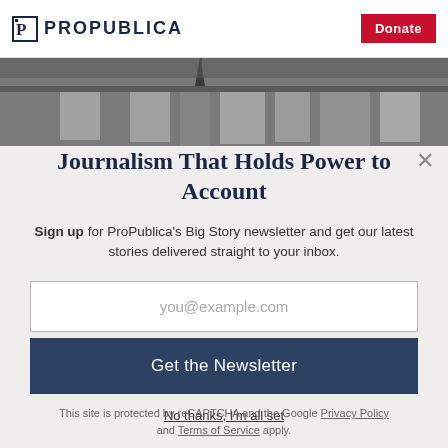ProPublica
[Figure (photo): Black and white photo of hanging clothes/garments on a rack, partially visible]
Journalism That Holds Power to Account
Sign up for ProPublica's Big Story newsletter and get our latest stories delivered straight to your inbox.
you@example.com
Get the Newsletter
No thanks, I'm all set
This site is protected by reCAPTCHA and the Google Privacy Policy and Terms of Service apply.